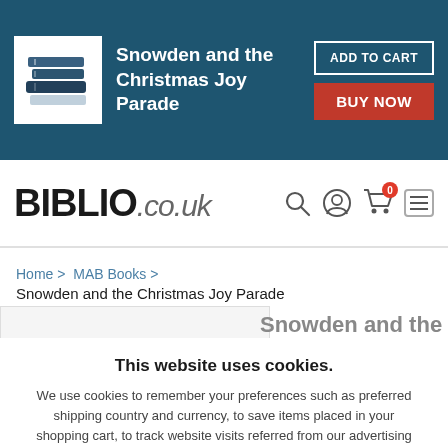[Figure (screenshot): Book icon on teal banner background]
Snowden and the Christmas Joy Parade
ADD TO CART
BUY NOW
BIBLIO.co.uk
Home > MAB Books > Snowden and the Christmas Joy Parade
This website uses cookies.
We use cookies to remember your preferences such as preferred shipping country and currency, to save items placed in your shopping cart, to track website visits referred from our advertising partners, and to analyze our website traffic. Manage your privacy settings.
AGREE AND CLOSE